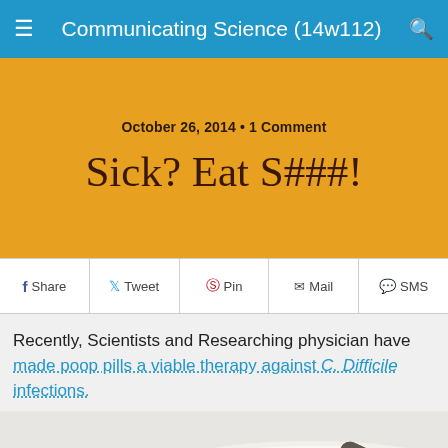Communicating Science (14w112)
October 26, 2014 • 1 Comment
Sick? Eat S###!
Share
Tweet
Pin
Mail
SMS
Recently, Scientists and Researching physician have made poop pills a viable therapy against C. Difficile infections.
[Figure (photo): Close-up photo of dark grey/brown capsule pills on a white plate or petri dish]